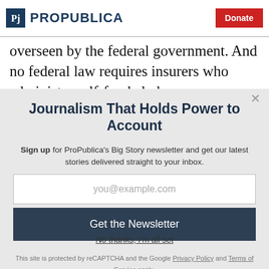ProPublica — Donate
overseen by the federal government. And no federal law requires insurers who administer self-funded plans
Journalism That Holds Power to Account
Sign up for ProPublica's Big Story newsletter and get our latest stories delivered straight to your inbox.
you@example.com
Get the Newsletter
No thanks, I'm all set
This site is protected by reCAPTCHA and the Google Privacy Policy and Terms of Service apply.